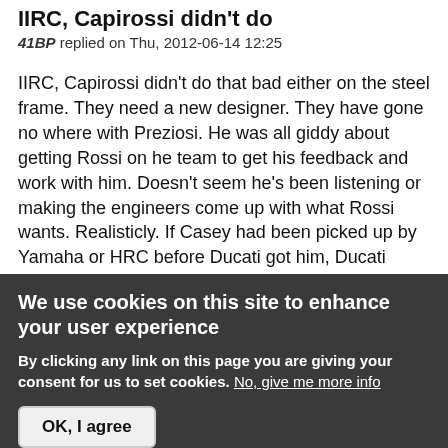IIRC, Capirossi didn't do
41BP replied on Thu, 2012-06-14 12:25
IIRC, Capirossi didn't do that bad either on the steel frame. They need a new designer. They have gone no where with Preziosi. He was all giddy about getting Rossi on he team to get his feedback and work with him. Doesn't seem he's been listening or making the engineers come up with what Rossi wants. Realisticly. If Casey had been picked up by Yamaha or HRC before Ducati got him, Ducati would have never won a championship. I like Ducatis(street bikes). They are beautiful machines, but they are getting what's deserved of them over the way they treated thier only
We use cookies on this site to enhance your user experience
By clicking any link on this page you are giving your consent for us to set cookies. No, give me more info
OK, I agree